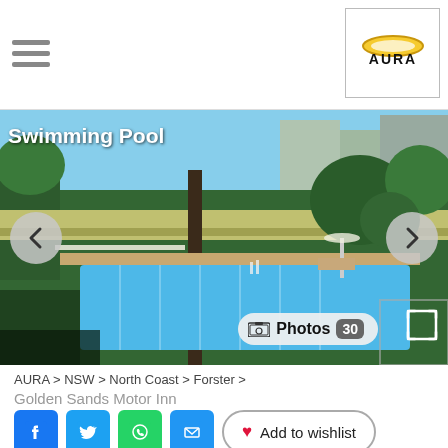AURA (logo/brand header with hamburger menu)
[Figure (photo): Aerial view of a swimming pool at Golden Sands Motor Inn, Forster NSW, with trees and street visible in background. Navigation arrows on left and right. Photos badge showing 30 photos. Label 'Swimming Pool' in top left.]
AURA > NSW > North Coast > Forster >
Golden Sands Motor Inn
Add to wishlist